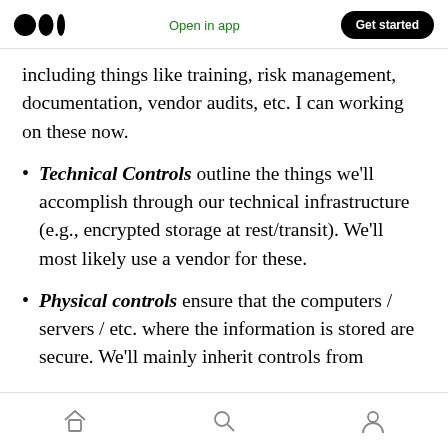Medium — Open in app | Get started
including things like training, risk management, documentation, vendor audits, etc. I can working on these now.
Technical Controls outline the things we'll accomplish through our technical infrastructure (e.g., encrypted storage at rest/transit). We'll most likely use a vendor for these.
Physical controls ensure that the computers / servers / etc. where the information is stored are secure. We'll mainly inherit controls from
Home | Search | Profile